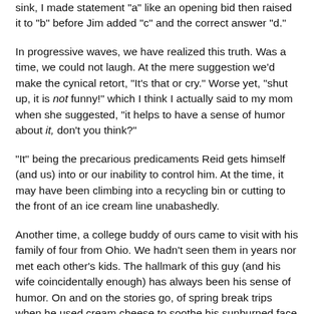sink, I made statement "a" like an opening bid then raised it to "b" before Jim added "c" and the correct answer "d."
In progressive waves, we have realized this truth. Was a time, we could not laugh. At the mere suggestion we'd make the cynical retort, "It's that or cry." Worse yet, "shut up, it is not funny!" which I think I actually said to my mom when she suggested, "it helps to have a sense of humor about it, don't you think?"
"It" being the precarious predicaments Reid gets himself (and us) into or our inability to control him. At the time, it may have been climbing into a recycling bin or cutting to the front of an ice cream line unabashedly.
Another time, a college buddy of ours came to visit with his family of four from Ohio. We hadn't seen them in years nor met each other's kids. The hallmark of this guy (and his wife coincidentally enough) has always been his sense of humor. On and on the stories go, of spring break trips when he used cream cheese to soothe his sunburned face since Noxema was unavailable. Or numerous one-liners he's coined which live on in our collective family lexicon but make no sense...